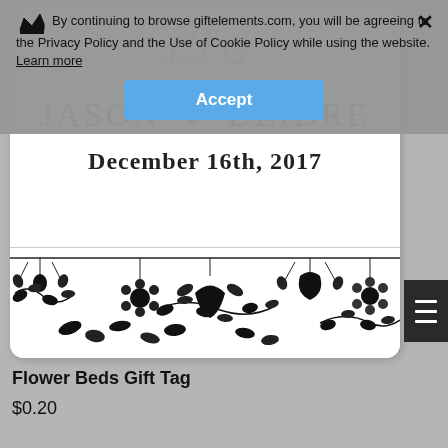By continuing to browse giftelements.com, you will be agreeing to the Privacy Policy and the Use of Cookie Policy while using the website. Learn more
Accept
[Figure (photo): Wedding gift tag product image showing 'JASON ♥ DEIDRE December 16th, 2017' with floral border decoration at the bottom of the card]
Flower Beds Gift Tag
$0.20